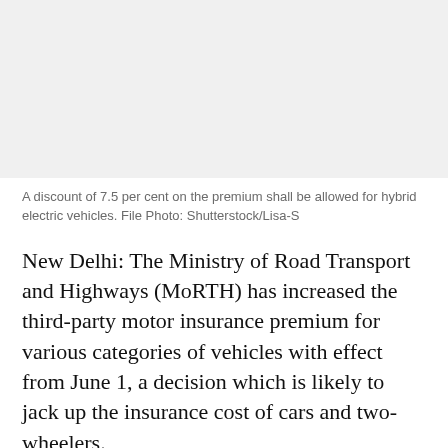[Figure (photo): A light grey placeholder image area representing a photo of a hybrid electric vehicle.]
A discount of 7.5 per cent on the premium shall be allowed for hybrid electric vehicles. File Photo: Shutterstock/Lisa-S
New Delhi: The Ministry of Road Transport and Highways (MoRTH) has increased the third-party motor insurance premium for various categories of vehicles with effect from June 1, a decision which is likely to jack up the insurance cost of cars and two-wheelers.
According to the revised rates notified by the MoRTH